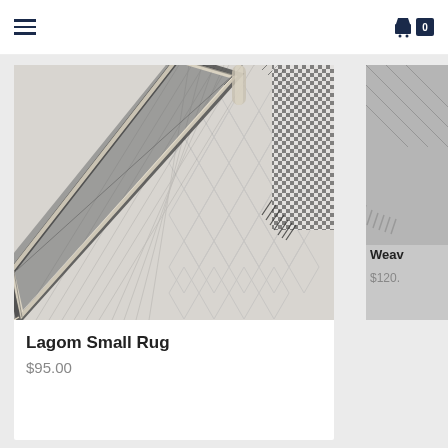Navigation bar with hamburger menu and cart icon showing 0
[Figure (photo): Close-up photograph of a gray woven rug with decorative braided border and cream fringe, laid diagonally on a hexagonal marble tile floor. A second rug with black fringe is partially visible in the background.]
[Figure (photo): Partial view of a second rug product card on the right edge, cut off. Shows partial text 'Weav' and price '$120.']
Lagom Small Rug
$95.00